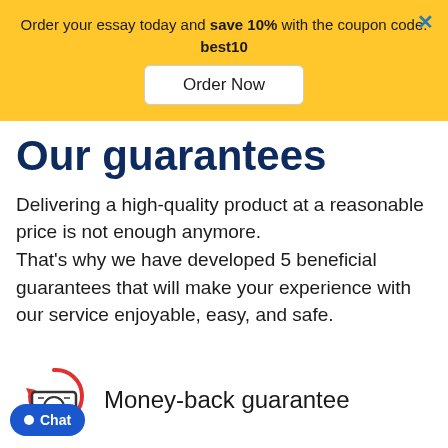Order your essay today and save 10% with the coupon code: best10
Order Now
Our guarantees
Delivering a high-quality product at a reasonable price is not enough anymore. That's why we have developed 5 beneficial guarantees that will make your experience with our service enjoyable, easy, and safe.
[Figure (illustration): Money-back guarantee icon with circular arrow and cash/coin symbol]
Money-back guarantee